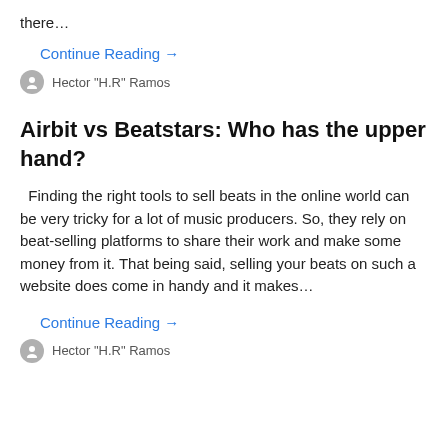there…
Continue Reading →
Hector "H.R" Ramos
Airbit vs Beatstars: Who has the upper hand?
Finding the right tools to sell beats in the online world can be very tricky for a lot of music producers. So, they rely on beat-selling platforms to share their work and make some money from it. That being said, selling your beats on such a website does come in handy and it makes…
Continue Reading →
Hector "H.R" Ramos